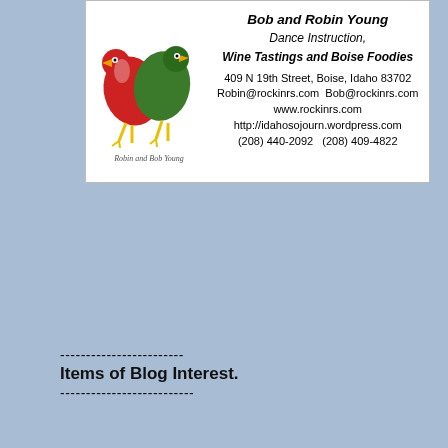[Figure (illustration): Business card for Bob and Robin Young showing two dancing bird characters (one red, one green) and contact information for Dance Instruction, Wine Tastings and Boise Foodies]
Items of Blog Interest.
[Figure (logo): Proud member of The Internet Defense League badge - black shield shape with white text and stars]